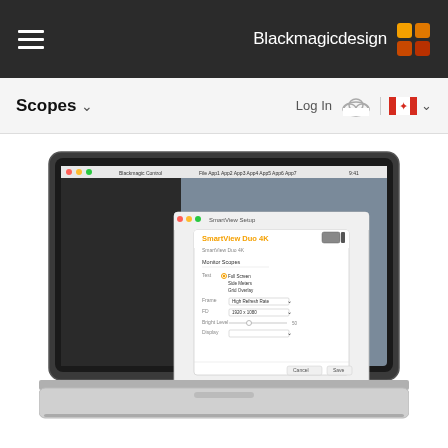Blackmagic Design
Scopes
Log In
[Figure (screenshot): MacBook laptop showing Blackmagic Design software with a SmartView setup dialog open on a grey desktop interface]